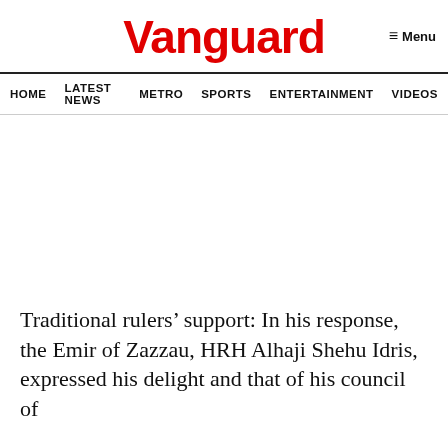Vanguard
≡ Menu
HOME  LATEST NEWS  METRO  SPORTS  ENTERTAINMENT  VIDEOS
Traditional rulers' support: In his response, the Emir of Zazzau, HRH Alhaji Shehu Idris, expressed his delight and that of his council of